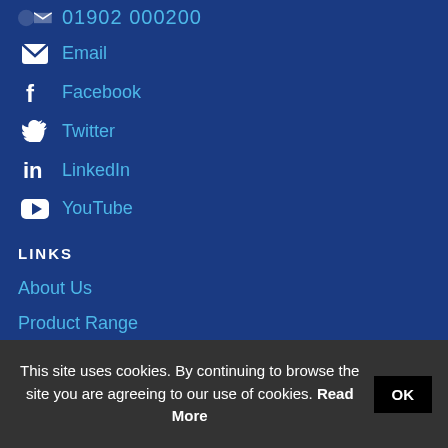Email
Facebook
Twitter
LinkedIn
YouTube
LINKS
About Us
Product Range
This site uses cookies. By continuing to browse the site you are agreeing to our use of cookies. Read More OK